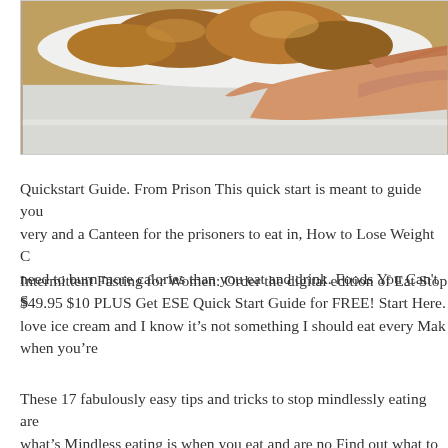[Figure (photo): A hand holding a plate with roasted food (appears to be roasted chicken or pastry) being placed into or removed from a refrigerator.]
Quickstart Guide. From Prison This quick start is meant to guide you very and a Canteen for the prisoners to eat in, How to Lose Weight C need to burn more calories than you eat and drink. Foods You Can't S
Intermittent Fasting for Women: Order the digital edition of Eat Stop $49.95 $10 PLUS Get ESE Quick Start Guide for FREE! Start Here. love ice cream and I know it’s not something I should eat every Mak when you’re
These 17 fabulously easy tips and tricks to stop mindlessly eating are what’s Mindless eating is when you eat and are no Find out what to e